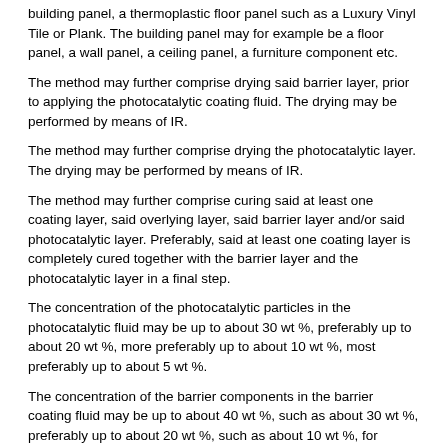building panel, a thermoplastic floor panel such as a Luxury Vinyl Tile or Plank. The building panel may for example be a floor panel, a wall panel, a ceiling panel, a furniture component etc.
The method may further comprise drying said barrier layer, prior to applying the photocatalytic coating fluid. The drying may be performed by means of IR.
The method may further comprise drying the photocatalytic layer. The drying may be performed by means of IR.
The method may further comprise curing said at least one coating layer, said overlying layer, said barrier layer and/or said photocatalytic layer. Preferably, said at least one coating layer is completely cured together with the barrier layer and the photocatalytic layer in a final step.
The concentration of the photocatalytic particles in the photocatalytic fluid may be up to about 30 wt %, preferably up to about 20 wt %, more preferably up to about 10 wt %, most preferably up to about 5 wt %.
The concentration of the barrier components in the barrier coating fluid may be up to about 40 wt %, such as about 30 wt %, preferably up to about 20 wt %, such as about 10 wt %, for example up to about 5 wt %.
The thickness of the barrier layer may be up to about 1 μm, preferably up to about 0.600 μm, more preferably up to about 0.400 μm, most preferably up